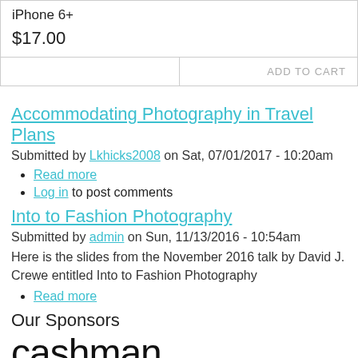| iPhone 6+ |  |
| $17.00 |  |
|  | ADD TO CART |
Accommodating Photography in Travel Plans
Submitted by Lkhicks2008 on Sat, 07/01/2017 - 10:20am
Read more
Log in to post comments
Into to Fashion Photography
Submitted by admin on Sun, 11/13/2016 - 10:54am
Here is the slides from the November 2016 talk by David J. Crewe entitled Into to Fashion Photography
Read more
Our Sponsors
[Figure (logo): cashman logo text in large sans-serif font]